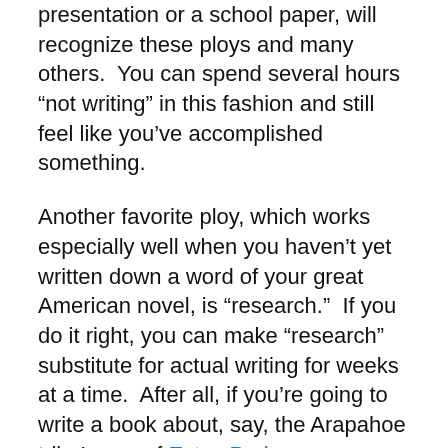presentation or a school paper, will recognize these ploys and many others.  You can spend several hours “not writing” in this fashion and still feel like you’ve accomplished something.
Another favorite ploy, which works especially well when you haven’t yet written down a word of your great American novel, is “research.”  If you do it right, you can make “research” substitute for actual writing for weeks at a time.  After all, if you’re going to write a book about, say, the Arapahoe tribe’s use of Estes Park as a summer hunting ground, why, then, you’ll have to make a pilgrimage to the Estes Park Historical Museum, to the Estes Park Public Library, and then, just to be thorough, you should undoubtedly hike in the areas where the Arapahoe roamed, as it were.  Of course, for those of us like, uh, me, who live in Estes Park, “research” would be